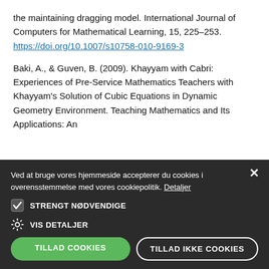the maintaining dragging model. International Journal of Computers for Mathematical Learning, 15, 225–253. https://doi.org/10.1007/s10758-010-9169-3
Baki, A., & Guven, B. (2009). Khayyam with Cabri: Experiences of Pre-Service Mathematics Teachers with Khayyam's Solution of Cubic Equations in Dynamic Geometry Environment. Teaching Mathematics and Its Applications: An
Ved at bruge vores hjemmeside accepterer du cookies i overensstemmelse med vores cookiepolitik. Detaljer
STRENGT NØDVENDIGE
VIS DETALJER
TILLAD COOKIES   TILLAD IKKE COOKIES